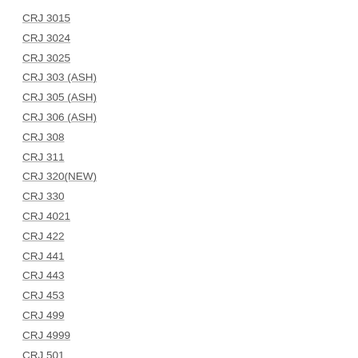CRJ 3015
CRJ 3024
CRJ 3025
CRJ 303 (ASH)
CRJ 305 (ASH)
CRJ 306 (ASH)
CRJ 308
CRJ 311
CRJ 320(NEW)
CRJ 330
CRJ 4021
CRJ 422
CRJ 441
CRJ 443
CRJ 453
CRJ 499
CRJ 4999
CRJ 501
CRJ 510